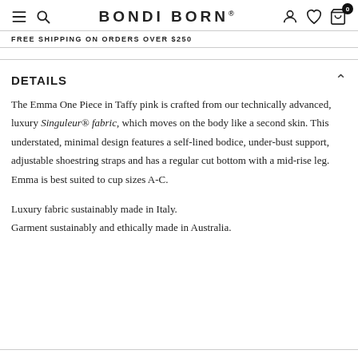BONDI BORN
FREE SHIPPING ON ORDERS OVER $250
DETAILS
The Emma One Piece in Taffy pink is crafted from our technically advanced, luxury Singuleur® fabric, which moves on the body like a second skin. This understated, minimal design features a self-lined bodice, under-bust support, adjustable shoestring straps and has a regular cut bottom with a mid-rise leg.
Emma is best suited to cup sizes A-C.

Luxury fabric sustainably made in Italy.
Garment sustainably and ethically made in Australia.